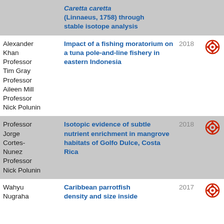| Authors | Title | Year | OA |
| --- | --- | --- | --- |
|  | Caretta caretta (Linnaeus, 1758) through stable isotope analysis |  |  |
| Alexander Khan
Professor
Tim Gray
Professor
Aileen Mill
Professor
Nick Polunin | Impact of a fishing moratorium on a tuna pole-and-line fishery in eastern Indonesia | 2018 | open access |
| Professor
Jorge Cortes-Nunez
Professor
Nick Polunin | Isotopic evidence of subtle nutrient enrichment in mangrove habitats of Golfo Dulce, Costa Rica | 2018 | open access |
| Wahyu Nugraha | Caribbean parrotfish density and size inside | 2017 | open access |